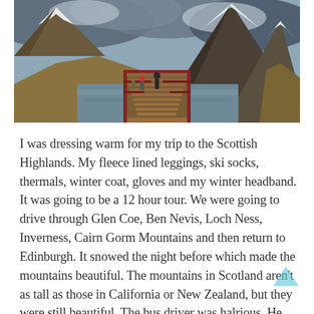[Figure (photo): A panoramic photograph of a wooden boardwalk bridge over water leading into a valley with snow-capped mountains in the Scottish Highlands. Overcast sky, brown grassy hills, a few people visible on the bridge.]
I was dressing warm for my trip to the Scottish Highlands. My fleece lined leggings, ski socks, thermals, winter coat, gloves and my winter headband. It was going to be a 12 hour tour. We were going to drive through Glen Coe, Ben Nevis, Loch Ness, Inverness, Cairn Gorm Mountains and then return to Edinburgh. It snowed the night before which made the mountains beautiful. The mountains in Scotland aren't as tall as those in California or New Zealand, but they were still beautiful. The bus driver was halrious. He wore a kilt and had three rules. Don't talk on your cellphone during the tour, don't talk when he is talking,